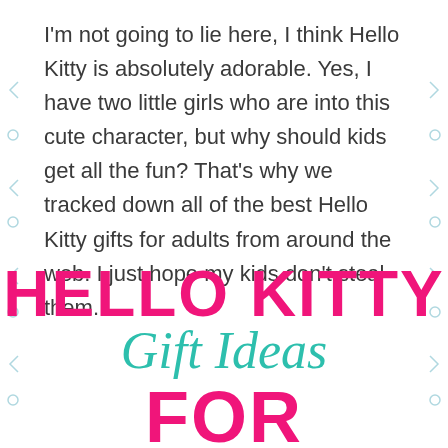I'm not going to lie here, I think Hello Kitty is absolutely adorable. Yes, I have two little girls who are into this cute character, but why should kids get all the fun? That's why we tracked down all of the best Hello Kitty gifts for adults from around the web. I just hope my kids don't steal them.
HELLO KITTY Gift Ideas FOR ADULTS